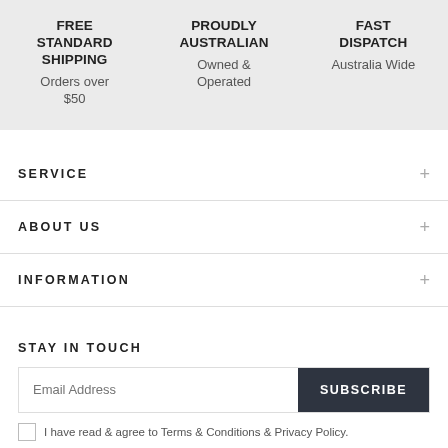FREE STANDARD SHIPPING
Orders over $50
PROUDLY AUSTRALIAN
Owned & Operated
FAST DISPATCH
Australia Wide
SERVICE
ABOUT US
INFORMATION
STAY IN TOUCH
Email Address
SUBSCRIBE
I have read & agree to Terms & Conditions & Privacy Policy.